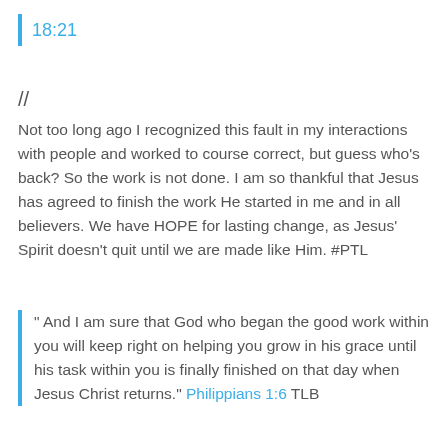18:21
//
Not too long ago I recognized this fault in my interactions with people and worked to course correct, but guess who's back? So the work is not done. I am so thankful that Jesus has agreed to finish the work He started in me and in all believers. We have HOPE for lasting change, as Jesus' Spirit doesn't quit until we are made like Him. #PTL
" And I am sure that God who began the good work within you will keep right on helping you grow in his grace until his task within you is finally finished on that day when Jesus Christ returns." Philippians 1:6 TLB